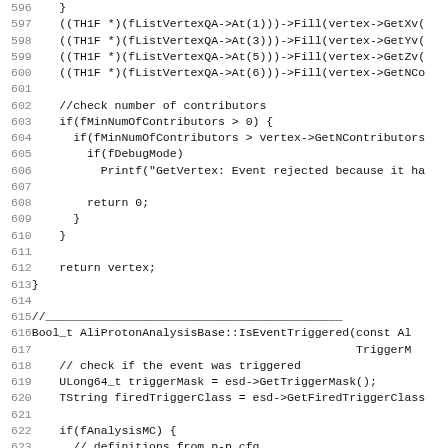Source code listing lines 596-627, C++ code for AliProtonAnalysisBase class methods including vertex QA filling, contributor checking, event trigger checking, and MC analysis definitions.